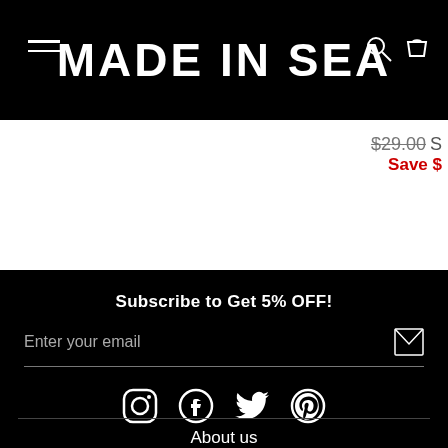MADE IN SEA
$29.00  Save $
Subscribe to Get 5% OFF!
Enter your email
[Figure (infographic): Social media icons: Instagram, Facebook, Twitter, Pinterest]
About us
Contact us